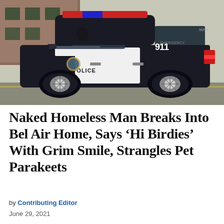[Figure (photo): LAPD police SUV (black and white) parked on a street, showing POLICE text and 911 emergency markings on the vehicle door. The SUV has dark tinted windows and chrome wheel rims.]
Naked Homeless Man Breaks Into Bel Air Home, Says ‘Hi Birdies’ With Grim Smile, Strangles Pet Parakeets
by Contributing Editor
June 29, 2021